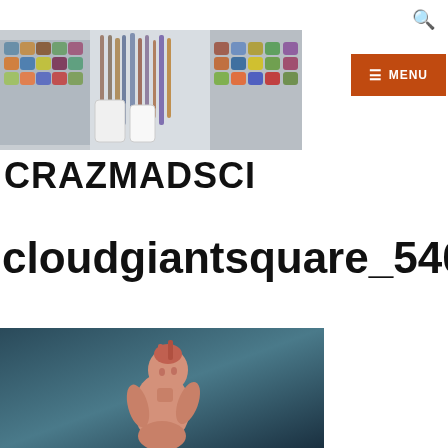🔍
[Figure (photo): Header banner photo showing paint pots, brushes, and hobby supplies arranged on shelves]
[Figure (other): Orange menu button with hamburger icon and MENU text]
CRAZMADSCI
cloudgiantsquare_540x
[Figure (photo): A clay or resin miniature figurine of a giant character, pinkish/unpainted, on a dark teal gradient background]